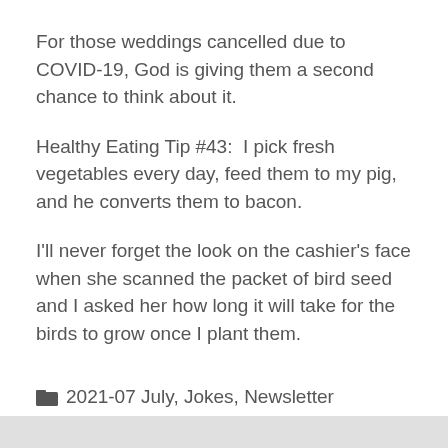For those weddings cancelled due to COVID-19, God is giving them a second chance to think about it.
Healthy Eating Tip #43:  I pick fresh vegetables every day, feed them to my pig, and he converts them to bacon.
I'll never forget the look on the cashier's face when she scanned the packet of bird seed and I asked her how long it will take for the birds to grow once I plant them.
2021-07 July, Jokes, Newsletter